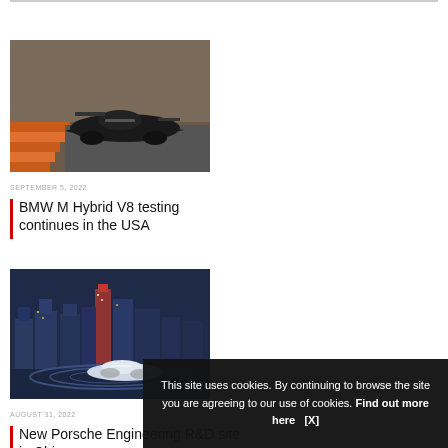[Figure (photo): Racing car (BMW M Hybrid V8 prototype) on a track with orange/brown curbing visible]
SEPTEMBER 5, 2022
BMW M Hybrid V8 testing continues in the USA
[Figure (photo): White concept car on a circular road with a city skyline (Shanghai/China) in the background at dusk]
AUGUST 31, 2022
New Porsche Engineering R&D site in China
This site uses cookies. By continuing to browse the site you are agreeing to our use of cookies. Find out more here   [X]